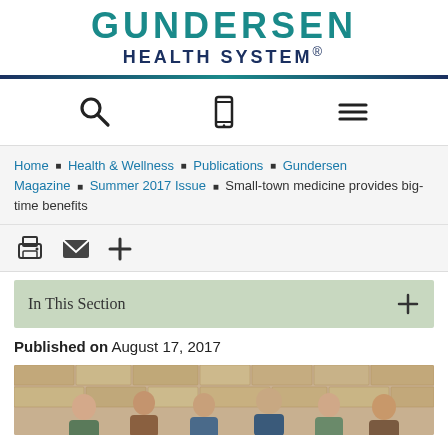GUNDERSEN HEALTH SYSTEM®
[Figure (logo): Gundersen Health System logo with teal GUNDERSEN text and dark blue HEALTH SYSTEM text]
[Figure (infographic): Navigation icon bar with search magnifying glass, mobile phone, and hamburger menu icons]
Home ■ Health & Wellness ■ Publications ■ Gundersen Magazine ■ Summer 2017 Issue ■ Small-town medicine provides big-time benefits
[Figure (infographic): Action icons: print, email, and plus/share icons]
In This Section
[Figure (infographic): Chatbot overlay showing 'Hello! I'm Ayla. How may I help you?' with avatar]
Published on August 17, 2017
[Figure (photo): Group photo of medical staff in front of stone wall background]